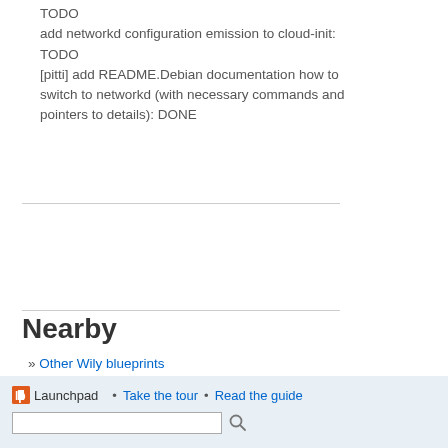TODO add networkd configuration emission to cloud-init: TODO
[pitti] add README.Debian documentation how to switch to networkd (with necessary commands and pointers to details): DONE
Nearby
» Other Wily blueprints
Launchpad • Take the tour • Read the guide [search box]